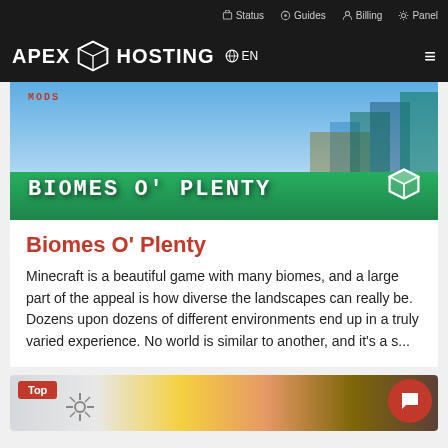Status  Guides  Billing  Panel
[Figure (screenshot): Apex Hosting website header with logo, cube icon, EN language selector, and hamburger menu on black background]
[Figure (photo): Biomes O' Plenty Minecraft mod promotional banner with MODS label, large white block text title, and a cube logo icon on right]
Biomes O' Plenty
Minecraft is a beautiful game with many biomes, and a large part of the appeal is how diverse the landscapes can really be. Dozens upon dozens of different environments end up in a truly varied experience. No world is similar to another, and it's a s...
[Figure (screenshot): Bottom card preview with 'Top' red badge, Minecraft-style character, gear/sun icon, and red chat bubble button on lower right]